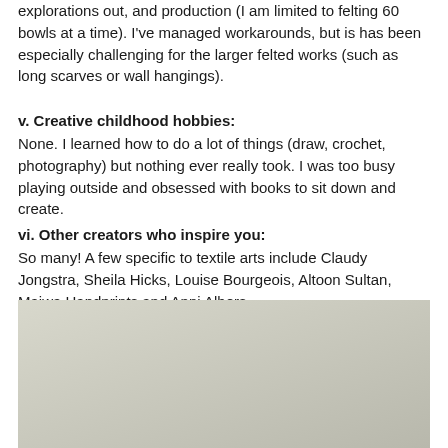explorations out, and production (I am limited to felting 60 bowls at a time). I've managed workarounds, but is has been especially challenging for the larger felted works (such as long scarves or wall hangings).
v. Creative childhood hobbies:
None. I learned how to do a lot of things (draw, crochet, photography) but nothing ever really took. I was too busy playing outside and obsessed with books to sit down and create.
vi. Other creators who inspire you:
So many! A few specific to textile arts include Claudy Jongstra, Sheila Hicks, Louise Bourgeois, Altoon Sultan, Maiwa Handprints and Anni Albers.
[Figure (photo): A light grey-green gradient background image, partially visible at the bottom of the page.]